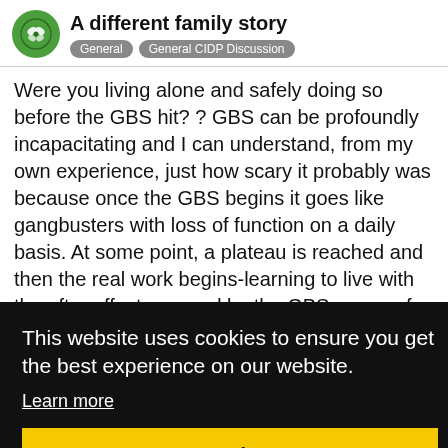A different family story | General | General CIDP Discussion
Were you living alone and safely doing so before the GBS hit? ? GBS can be profoundly incapacitating and I can understand, from my own experience, just how scary it probably was because once the GBS begins it goes like gangbusters with loss of function on a daily basis. At some point, a plateau is reached and then the real work begins-learning to live with the after effects caused by the GBS, some of which are physical, some of which are mental. Some f…
This website uses cookies to ensure you get the best experience on our website. Learn more Got it!
appointments and the like?